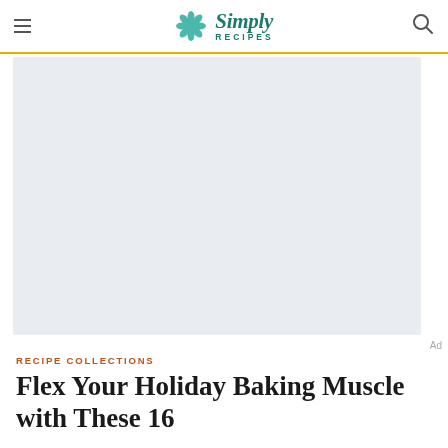Simply Recipes
[Figure (other): Gray advertisement placeholder area]
RECIPE COLLECTIONS
Flex Your Holiday Baking Muscle with These 16